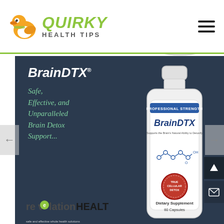[Figure (logo): Quirky Health Tips logo with cartoon duck and green text]
[Figure (photo): Partial view of a white plate/dish at top right]
[Figure (photo): BrainDTX supplement bottle — white plastic bottle with label showing PROFESSIONAL STRENGTH, BrainDTX, Dietary Supplement, 60 Capsules, True Cellular Detox seal]
BrainDTX
Safe, Effective, and Unparalleled Brain Detox Support...
[Figure (logo): revelationHEALTH logo in green and dark text]